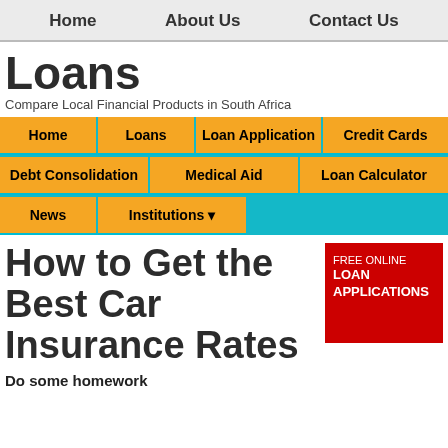Home   About Us   Contact Us
Loans
Compare Local Financial Products in South Africa
Home | Loans | Loan Application | Credit Cards | Debt Consolidation | Medical Aid | Loan Calculator | News | Institutions
How to Get the Best Car Insurance Rates
[Figure (infographic): Red box advertisement reading FREE ONLINE LOAN APPLICATIONS]
Do some homework